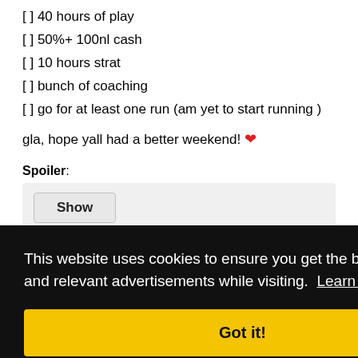[ ] 40 hours of play
[ ] 50%+ 100nl cash
[ ] 10 hours strat
[ ] bunch of coaching
[ ] go for at least one run (am yet to start running )
gla, hope yall had a better weekend! ❤
Spoiler:
Show
ote
#945
away pretty much. played a few short meaningless sessions
This website uses cookies to ensure you get the best experience and relevant advertisements while visiting. Learn more
Got it!